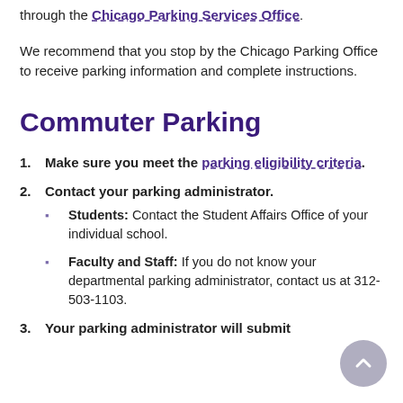through the Chicago Parking Services Office.
We recommend that you stop by the Chicago Parking Office to receive parking information and complete instructions.
Commuter Parking
Make sure you meet the parking eligibility criteria.
Contact your parking administrator.
Students: Contact the Student Affairs Office of your individual school.
Faculty and Staff: If you do not know your departmental parking administrator, contact us at 312-503-1103.
Your parking administrator will submit